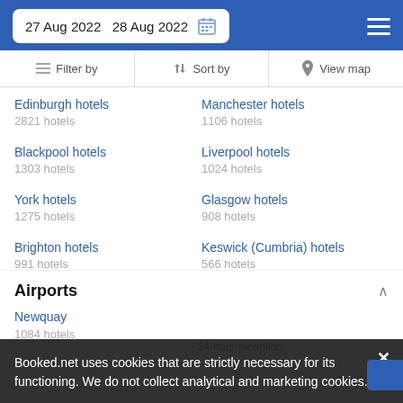27 Aug 2022  28 Aug 2022
Filter by | Sort by | View map
Edinburgh hotels
2821 hotels
Manchester hotels
1106 hotels
Blackpool hotels
1303 hotels
Liverpool hotels
1024 hotels
York hotels
1275 hotels
Glasgow hotels
908 hotels
Brighton hotels
991 hotels
Keswick (Cumbria) hotels
566 hotels
Airports
Newquay
1084 hotels
24-hour reception
Booked.net uses cookies that are strictly necessary for its functioning. We do not collect analytical and marketing cookies.